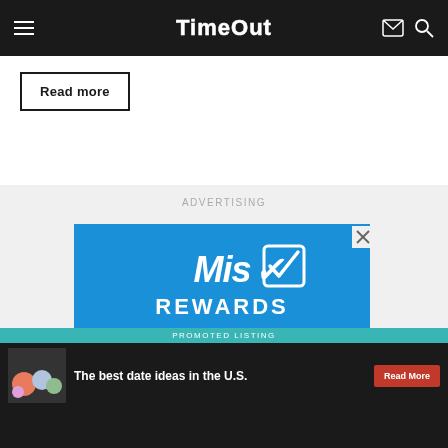TimeOut
Read more
ADVERTISING
[Figure (screenshot): Misu Rewards advertisement banner with blue background showing 'Earn money' text]
PROMOTED LISTING
The best date ideas in the U.S.  Read More